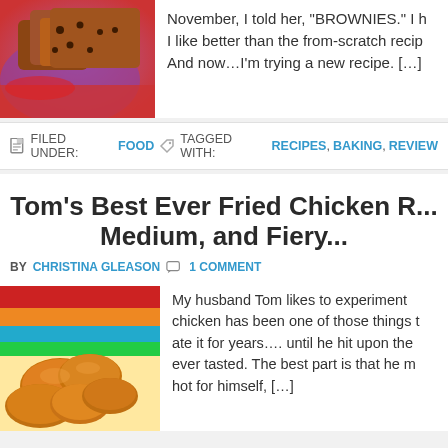[Figure (photo): Photo of brownies with chocolate chips on a purple/red background]
November, I told her, “BROWNIES.” I h... I like better than the from-scratch recip... And now…I’m trying a new recipe. […]
FILED UNDER: FOOD ◈ TAGGED WITH: RECIPES, BAKING, REVIEW
Tom’s Best Ever Fried Chicken R... Medium, and Fiery...
BY CHRISTINA GLEASON ✩ 1 COMMENT
[Figure (photo): Photo of golden fried chicken pieces on a colorful striped background]
My husband Tom likes to experiment... chicken has been one of those things t... ate it for years…. until he hit upon the... ever tasted. The best part is that he m... hot for himself, […]